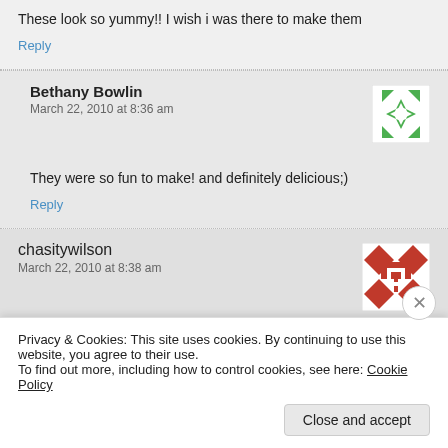These look so yummy!! I wish i was there to make them
Reply
Bethany Bowlin
March 22, 2010 at 8:36 am
[Figure (illustration): Green geometric avatar icon with star/arrow pattern]
They were so fun to make! and definitely delicious;)
Reply
chasitywilson
March 22, 2010 at 8:38 am
[Figure (illustration): Red and white geometric quilt-pattern avatar icon]
these were so good and i have made them at home and my family
Privacy & Cookies: This site uses cookies. By continuing to use this website, you agree to their use.
To find out more, including how to control cookies, see here: Cookie Policy
Close and accept